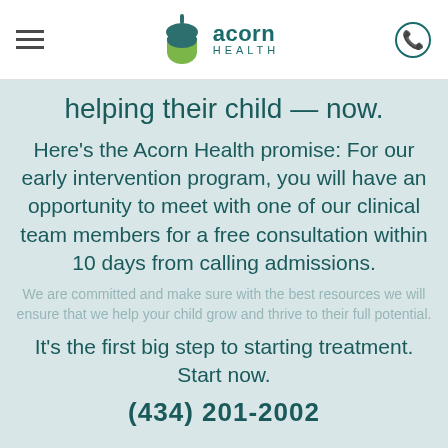[Figure (logo): Acorn Health logo with acorn icon and text 'acorn HEALTH']
helping their child — now.
Here's the Acorn Health promise: For our early intervention program, you will have an opportunity to meet with one of our clinical team members for a free consultation within 10 days from calling admissions.
We are committed and make sure with the best resources we will ensure that we help your child grow and thrive to their full potential.
It's the first big step to starting treatment. Start now.
(434) 201-2002